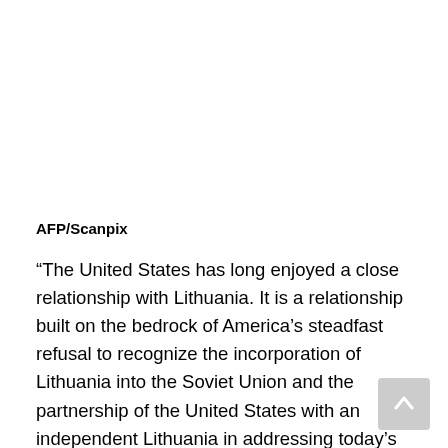AFP/Scanpix
“The United States has long enjoyed a close relationship with Lithuania. It is a relationship built on the bedrock of America’s steadfast refusal to recognize the incorporation of Lithuania into the Soviet Union and the partnership of the United States with an independent Lithuania in addressing today’s global challenges to democracy and security. I look forward to building on this partnership,” the ambassador said in the press